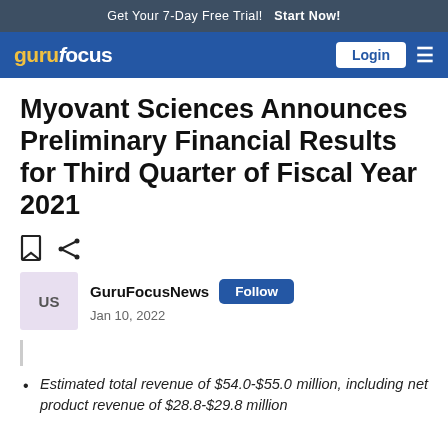Get Your 7-Day Free Trial!  Start Now!
gurufocus  Login
Myovant Sciences Announces Preliminary Financial Results for Third Quarter of Fiscal Year 2021
GuruFocusNews  Follow  Jan 10, 2022
Estimated total revenue of $54.0-$55.0 million, including net product revenue of $28.8-$29.8 million